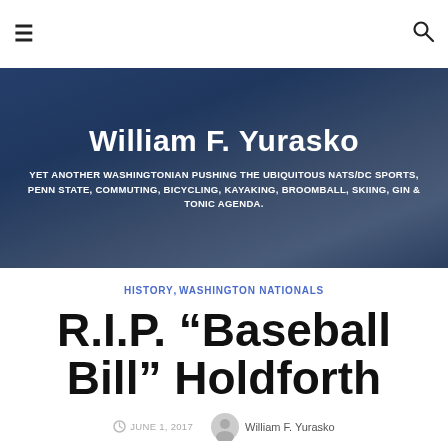William F. Yurasko — YET ANOTHER WASHINGTONIAN PUSHING THE UBIQUITOUS NATS/DC SPORTS, PENN STATE, COMMUTING, BICYCLING, KAYAKING, BROOMBALL, SKIING, GIN & TONIC AGENDA.
HISTORY, WASHINGTON NATIONALS
R.I.P. “Baseball Bill” Holdforth
JUNE 1, 2017   William F. Yurasko
The next time you are watching the Washington